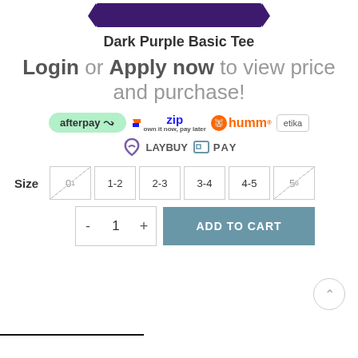[Figure (photo): Dark purple folded t-shirt visible at top of page]
Dark Purple Basic Tee
Login or Apply now to view price and purchase!
[Figure (logo): Payment provider logos: afterpay, zip, humm, etika, LAYBUY, PAY]
Size
0-1  1-2  2-3  3-4  4-5  5-6
- 1 + ADD TO CART